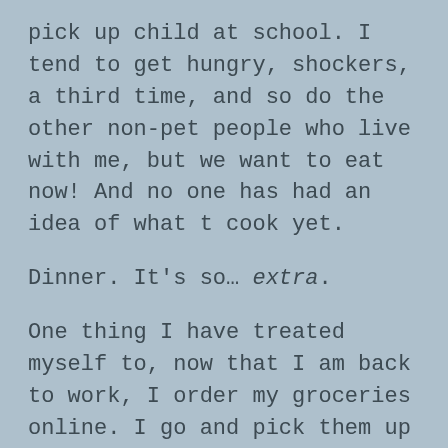pick up child at school. I tend to get hungry, shockers, a third time, and so do the other non-pet people who live with me, but we want to eat now! And no one has had an idea of what t cook yet.
Dinner. It's so… extra.
One thing I have treated myself to, now that I am back to work, I order my groceries online. I go and pick them up